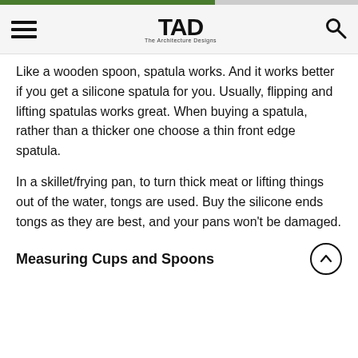TAD – The Architecture Designs
Like a wooden spoon, spatula works. And it works better if you get a silicone spatula for you. Usually, flipping and lifting spatulas works great. When buying a spatula, rather than a thicker one choose a thin front edge spatula.
In a skillet/frying pan, to turn thick meat or lifting things out of the water, tongs are used. Buy the silicone ends tongs as they are best, and your pans won't be damaged.
Measuring Cups and Spoons